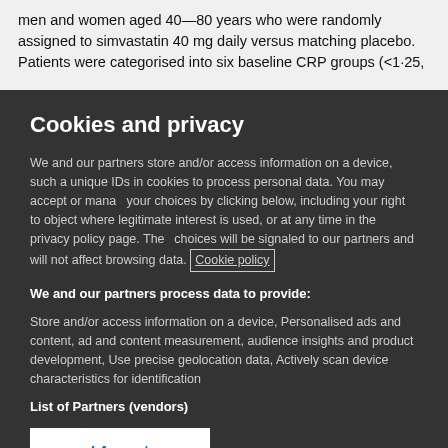men and women aged 40—80 years who were randomly assigned to simvastatin 40 mg daily versus matching placebo. Patients were categorised into six baseline CRP groups (<1·25,
Cookies and privacy
We and our partners store and/or access information on a device, such as unique IDs in cookies to process personal data. You may accept or manage your choices by clicking below, including your right to object where legitimate interest is used, or at any time in the privacy policy page. These choices will be signaled to our partners and will not affect browsing data. Cookie policy
We and our partners process data to provide:
Store and/or access information on a device, Personalised ads and content, ad and content measurement, audience insights and product development, Use precise geolocation data, Actively scan device characteristics for identification
List of Partners (vendors)
I Accept